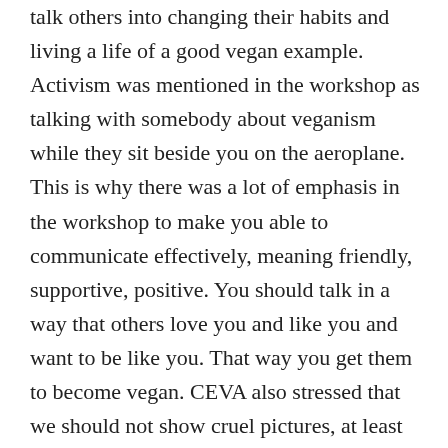talk others into changing their habits and living a life of a good vegan example. Activism was mentioned in the workshop as talking with somebody about veganism while they sit beside you on the aeroplane. This is why there was a lot of emphasis in the workshop to make you able to communicate effectively, meaning friendly, supportive, positive. You should talk in a way that others love you and like you and want to be like you. That way you get them to become vegan. CEVA also stressed that we should not show cruel pictures, at least not before asking the other person if they agree seeing it. Cruel pictures were explicitly banned from the workshop and the talks. All this underlines the underlying approach: being animal friendly is a personal and private decision and not a political issue of liberation. Lennaert